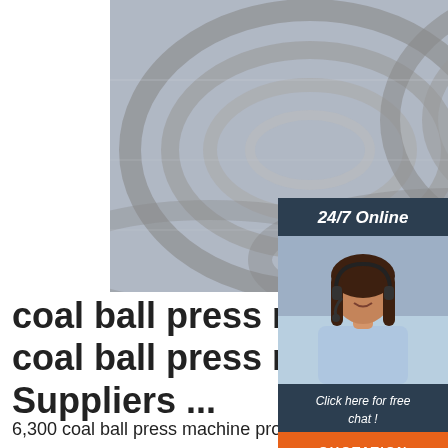[Figure (photo): Close-up photo of coiled steel wire rods stacked together, silver/grey metallic color]
[Figure (photo): Sidebar widget showing a smiling woman with headset, labeled '24/7 Online' with 'Click here for free chat!' and a QUOTATION button]
coal ball press machine coal ball press machine Suppliers ...
6,300 coal ball press machine products are offered for sale by suppliers on Alibaba.com, of which briquette machines accounts for 57%, energy saving equipment accounts for 13%, and biomass briquette machines accounts for 1%. A wide variety of coal ball press machine options are available to you, There are 4,884 suppliers who